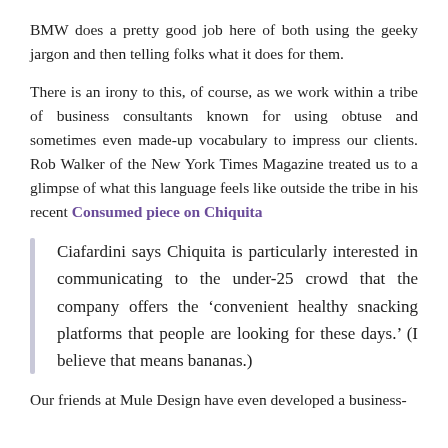BMW does a pretty good job here of both using the geeky jargon and then telling folks what it does for them.
There is an irony to this, of course, as we work within a tribe of business consultants known for using obtuse and sometimes even made-up vocabulary to impress our clients. Rob Walker of the New York Times Magazine treated us to a glimpse of what this language feels like outside the tribe in his recent Consumed piece on Chiquita
Ciafardini says Chiquita is particularly interested in communicating to the under-25 crowd that the company offers the ‘convenient healthy snacking platforms that people are looking for these days.’ (I believe that means bananas.)
Our friends at Mule Design have even developed a business-